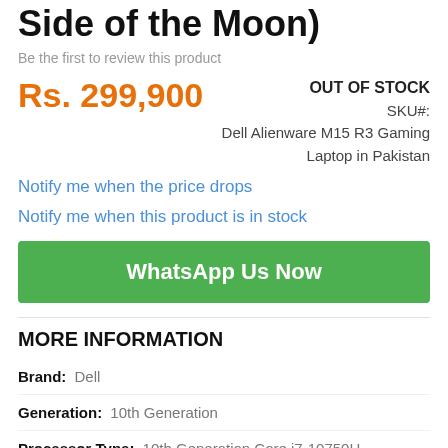Side of the Moon)
Be the first to review this product
Rs. 299,900
OUT OF STOCK
SKU#:
Dell Alienware M15 R3 Gaming Laptop in Pakistan
Notify me when the price drops
Notify me when this product is in stock
WhatsApp Us Now
MORE INFORMATION
Brand:  Dell
Generation:  10th Generation
Processor Type:  10th Generation Core i7-10750H
HexaCore Processor (6 Cores, 12 Threads)